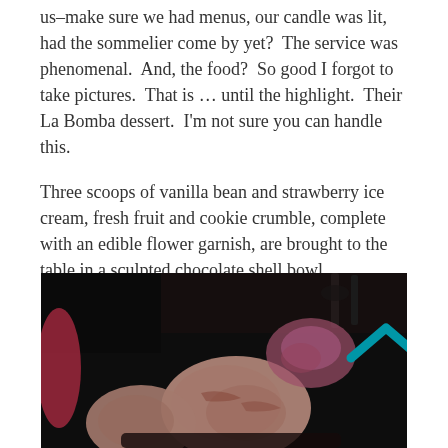us–make sure we had menus, our candle was lit, had the sommelier come by yet?  The service was phenomenal.  And, the food?  So good I forgot to take pictures.  That is … until the highlight.  Their La Bomba dessert.  I'm not sure you can handle this.
Three scoops of vanilla bean and strawberry ice cream, fresh fruit and cookie crumble, complete with an edible flower garnish, are brought to the table in a sculpted chocolate shell bowl.
[Figure (photo): Dark photo of ice cream scoops (vanilla bean and strawberry) in what appears to be a chocolate shell bowl, with pink garnish and glassware visible in the background. A teal/blue arrow chevron is visible in the upper right area of the image.]